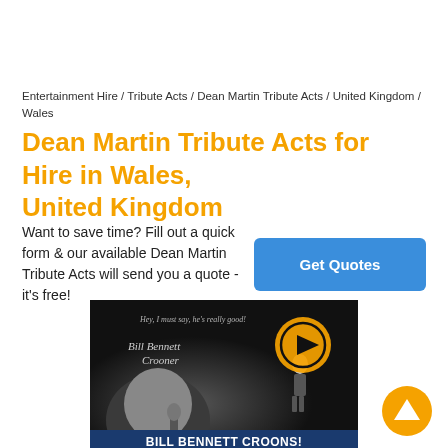Entertainment Hire / Tribute Acts / Dean Martin Tribute Acts / United Kingdom / Wales
Dean Martin Tribute Acts for Hire in Wales, United Kingdom
Want to save time? Fill out a quick form & our available Dean Martin Tribute Acts will send you a quote - it's free!
[Figure (screenshot): Video thumbnail showing Bill Bennett Crooner - a man in a suit singing into a microphone, with a play button overlay and text 'Hey, I must say, he's really good', Bill Bennett Crooner branding, and youtube.com/user/Mr4miler URL]
BILL BENNETT CROONS!